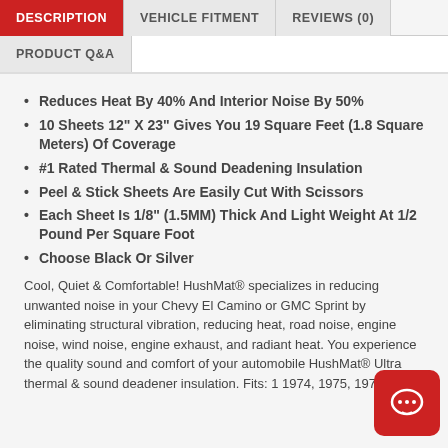DESCRIPTION
VEHICLE FITMENT
REVIEWS (0)
PRODUCT Q&A
Reduces Heat By 40% And Interior Noise By 50%
10 Sheets 12" X 23" Gives You 19 Square Feet (1.8 Square Meters) Of Coverage
#1 Rated Thermal & Sound Deadening Insulation
Peel & Stick Sheets Are Easily Cut With Scissors
Each Sheet Is 1/8" (1.5MM) Thick And Light Weight At 1/2 Pound Per Square Foot
Choose Black Or Silver
Cool, Quiet & Comfortable! HushMat® specializes in reducing unwanted noise in your Chevy El Camino or GMC Sprint by eliminating structural vibration, reducing heat, road noise, engine noise, wind noise, engine exhaust, and radiant heat. You experience the quality sound and comfort of your automobile HushMat® Ultra thermal & sound deadener insulation. Fits: 1974, 1975, 1976 & 1977